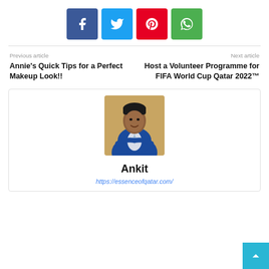[Figure (other): Row of four social media share buttons: Facebook (blue), Twitter (light blue), Pinterest (red), WhatsApp (green)]
Previous article
Annie's Quick Tips for a Perfect Makeup Look!!
Next article
Host a Volunteer Programme for FIFA World Cup Qatar 2022™
[Figure (photo): Author profile photo of a young man in a blue blazer with arms crossed, smiling, in a warmly lit indoor setting]
Ankit
https://essenceofqatar.com/